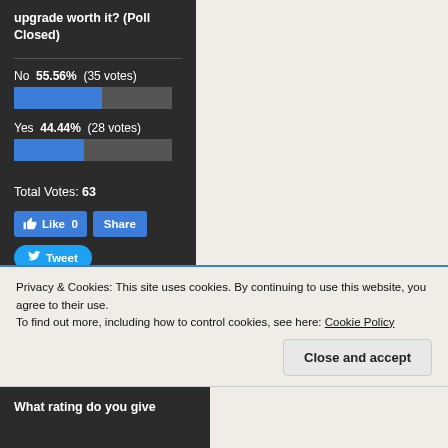upgrade worth it? (Poll Closed)
[Figure (bar-chart): Poll results]
Total Votes: 63
[Figure (infographic): Like 0, Share, and Tweet social buttons]
Create Your Own Poll
Privacy & Cookies: This site uses cookies. By continuing to use this website, you agree to their use. To find out more, including how to control cookies, see here: Cookie Policy
Close and accept
What rating do you give